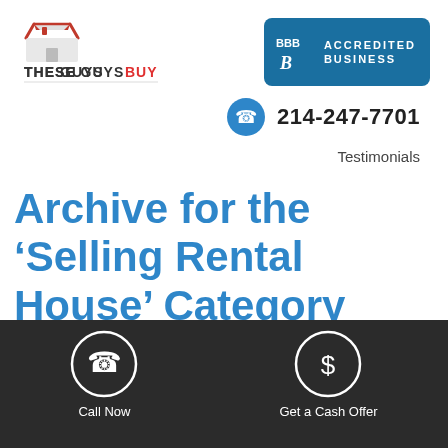[Figure (logo): These Guys Buy logo with house roof icon in red and text in dark gray and red]
[Figure (logo): BBB Accredited Business badge in blue with white text]
214-247-7701
Testimonials
Archive for the ‘Selling Rental House’ Category
Selling Rental Property With
[Figure (infographic): Dark footer bar with Call Now phone icon button and Get a Cash Offer dollar sign icon button]